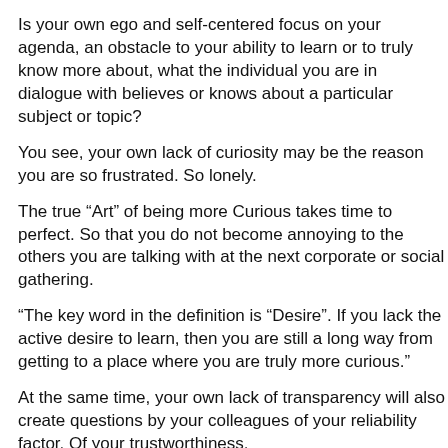Is your own ego and self-centered focus on your agenda, an obstacle to your ability to learn or to truly know more about, what the individual you are in dialogue with believes or knows about a particular subject or topic?
You see, your own lack of curiosity may be the reason you are so frustrated. So lonely.
The true “Art” of being more Curious takes time to perfect. So that you do not become annoying to the others you are talking with at the next corporate or social gathering.
“The key word in the definition is “Desire”. If you lack the active desire to learn, then you are still a long way from getting to a place where you are truly more curious.”
At the same time, your own lack of transparency will also create questions by your colleagues of your reliability factor. Of your trustworthiness.
“How might you become more curious and simultaneously more transparent, so that others you are in dialogue with, will trust you